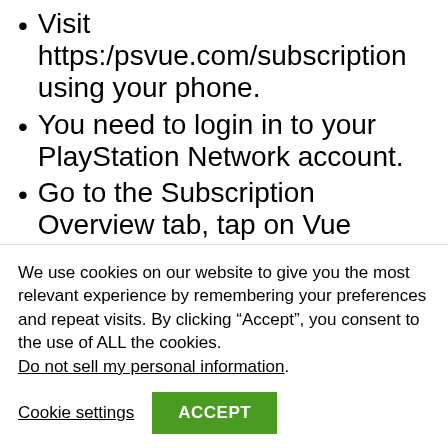Visit https:/psvue.com/subscription using your phone.
You need to login in to your PlayStation Network account.
Go to the Subscription Overview tab, tap on Vue Subscription.
Tap on Cancel Subscription tab. Select Yes when asked.
You'll have to finish the cancelation process and eventually press Cancel Subscription.
We use cookies on our website to give you the most relevant experience by remembering your preferences and repeat visits. By clicking “Accept”, you consent to the use of ALL the cookies.
Do not sell my personal information.